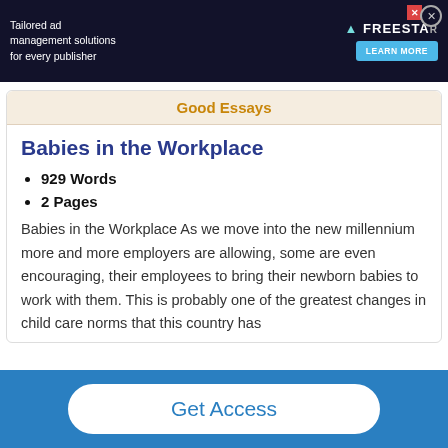[Figure (illustration): Advertisement banner for Freestar ad management: 'Tailored ad management solutions for every publisher' with Learn More button and close X button.]
Good Essays
Babies in the Workplace
929 Words
2 Pages
Babies in the Workplace As we move into the new millennium more and more employers are allowing, some are even encouraging, their employees to bring their newborn babies to work with them. This is probably one of the greatest changes in child care norms that this country has
Get Access